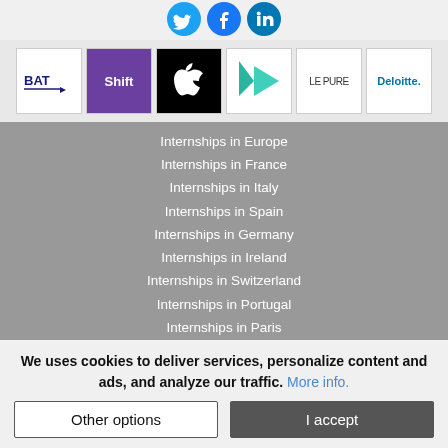[Figure (logo): Social media icons: Twitter, Facebook, LinkedIn]
[Figure (logo): Company logo strip: BAT, Shift, Apple, teal play button logo, Le Pure, Deloitte]
Internships in Europe
Internships in France
Internships in Italy
Internships in Spain
Internships in Germany
Internships in Ireland
Internships in Switzerland
Internships in Portugal
Internships in Paris
Internships in London
We uses cookies to deliver services, personalize content and ads, and analyze our traffic. More info.
Other options | I accept